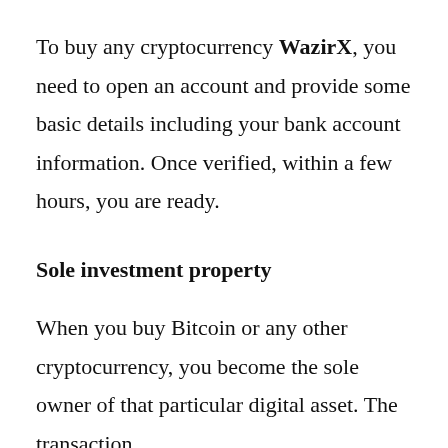To buy any cryptocurrency WazirX, you need to open an account and provide some basic details including your bank account information. Once verified, within a few hours, you are ready.
Sole investment property
When you buy Bitcoin or any other cryptocurrency, you become the sole owner of that particular digital asset. The transaction